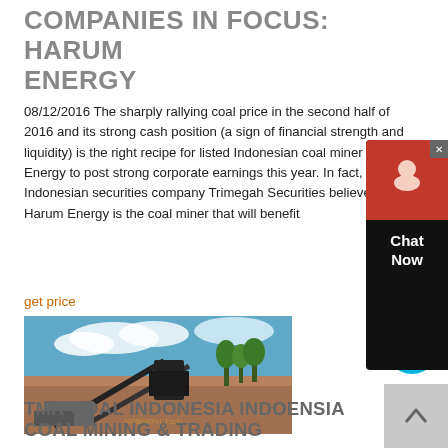COMPANIES IN FOCUS: HARUM ENERGY
08/12/2016 The sharply rallying coal price in the second half of 2016 and its strong cash position (a sign of financial strength and liquidity) is the right recipe for listed Indonesian coal miner Harum Energy to post strong corporate earnings this year. In fact, Indonesian securities company Trimegah Securities believes that Harum Energy is the coal miner that will benefit
get price
[Figure (photo): Industrial coal mining equipment/conveyor belt machinery outdoors with blue sky background, trees visible in background, red/brown earth ground]
TMR COAL INDONESIA INDOENSIA COAL MINING & TRADING